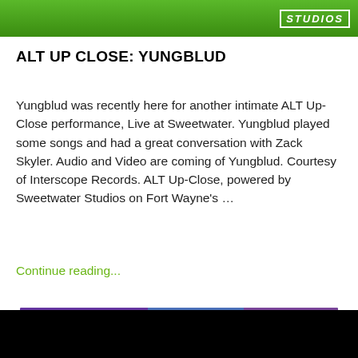[Figure (photo): Top banner image showing green/studio background with STUDIOS text in white on right side]
ALT UP CLOSE: YUNGBLUD
Yungblud was recently here for another intimate ALT Up-Close performance, Live at Sweetwater. Yungblud played some songs and had a great conversation with Zack Skyler. Audio and Video are coming of Yungblud. Courtesy of Interscope Records. ALT Up-Close, powered by Sweetwater Studios on Fort Wayne's …
Continue reading...
[Figure (photo): Photo of a young person on stage with ALT 102.3 Fort Wayne's Alternative logo circle visible on left, purple/blue stage lighting, person wearing black shirt with red text, microphone stand visible on left, green button in bottom right corner]